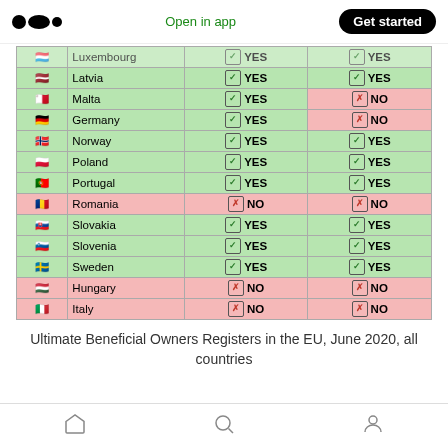Open in app | Get started
| Flag | Country | Col1 Check | Col1 Status | Col2 Check | Col2 Status |
| --- | --- | --- | --- | --- | --- |
| Luxembourg | YES | YES |
| Latvia | YES | YES |
| Malta | YES | NO |
| Germany | YES | NO |
| Norway | YES | YES |
| Poland | YES | YES |
| Portugal | YES | YES |
| Romania | NO | NO |
| Slovakia | YES | YES |
| Slovenia | YES | YES |
| Sweden | YES | YES |
| Hungary | NO | NO |
| Italy | NO | NO |
Ultimate Beneficial Owners Registers in the EU, June 2020, all countries
Home | Search | Profile